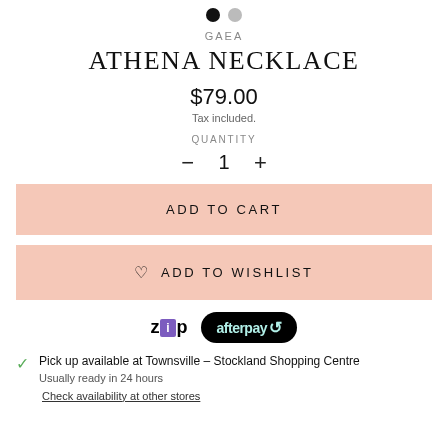[Figure (other): Two color selector dots: one black, one gray]
GAEA
ATHENA NECKLACE
$79.00
Tax included.
QUANTITY
− 1 +
ADD TO CART
♡ ADD TO WISHLIST
[Figure (logo): Zip and Afterpay payment logos]
Pick up available at Townsville – Stockland Shopping Centre
Usually ready in 24 hours
Check availability at other stores